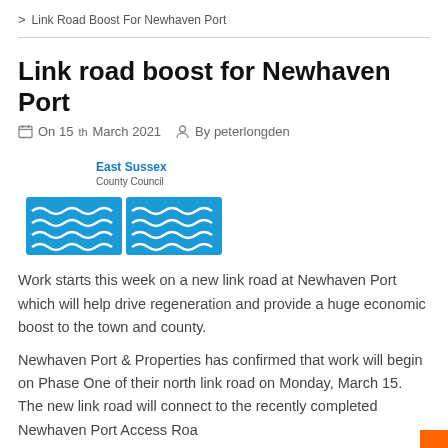> Link Road Boost For Newhaven Port
Link road boost for Newhaven Port
On 15th March 2021   By peterlongden
[Figure (logo): East Sussex County Council logo with blue wavy lines representing water]
Work starts this week on a new link road at Newhaven Port which will help drive regeneration and provide a huge economic boost to the town and county.
Newhaven Port & Properties has confirmed that work will begin on Phase One of their north link road on Monday, March 15. The new link road will connect to the recently completed Newhaven Port Access Roa...